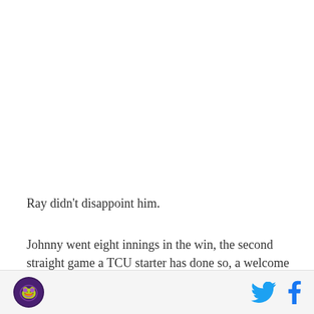Ray didn't disappoint him.
Johnny went eight innings in the win, the second straight game a TCU starter has done so, a welcome sight after a couple of up and down weekends from the rotation. And, much like Austin Krob, Ray got plenty of run support from a Horned Frog offense that continues to roll.
The Frogs scored first once again Saturday,
[Figure (logo): Circular purple team logo at bottom left]
[Figure (illustration): Twitter bird icon in blue]